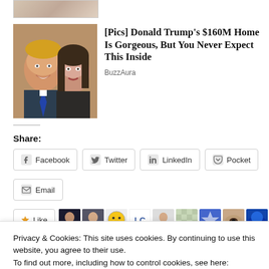[Figure (photo): Partial photo at top (cropped person)]
[Figure (photo): Photo of Donald Trump and Melania Trump smiling]
[Pics] Donald Trump's $160M Home Is Gorgeous, But You Never Expect This Inside
BuzzAura
Share:
Facebook
Twitter
LinkedIn
Pocket
Email
[Figure (screenshot): Like button and row of user avatar thumbnails]
Privacy & Cookies: This site uses cookies. By continuing to use this website, you agree to their use.
To find out more, including how to control cookies, see here: Cookie Policy
Close and accept
Translations and the